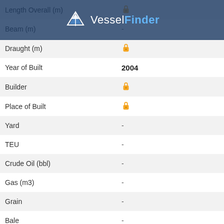| Field | Value |
| --- | --- |
| Length Overall (m) | 🔒 (partially visible) |
| Beam (m) | - |
| Draught (m) | 🔒 |
| Year of Built | 2004 |
| Builder | 🔒 |
| Place of Built | 🔒 |
| Yard | - |
| TEU | - |
| Crude Oil (bbl) | - |
| Gas (m3) | - |
| Grain | - |
| Bale | - |
| Classification Society | 🔒 |
| Registered Owner | 🔒 |
| Manager | 🔒 |
[Figure (logo): VesselFinder watermark/logo overlay with paper boat icon and text 'VesselFinder' in white and blue on dark navy background]